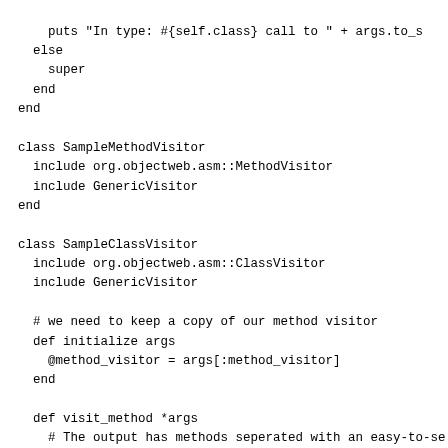puts "In type: #{self.class} call to " + args.to_s
  else
    super
  end
end

class SampleMethodVisitor
  include org.objectweb.asm::MethodVisitor
  include GenericVisitor
end

class SampleClassVisitor
  include org.objectweb.asm::ClassVisitor
  include GenericVisitor

  # we need to keep a copy of our method visitor
  def initialize args
    @method_visitor = args[:method_visitor]
  end

  def visit_method *args
    # The output has methods seperated with an easy-to-se
    puts "visit method " + args.to_s + "===============

    # Asm wants ClassVisitor#visitMethod to return a meth
    @method visitor